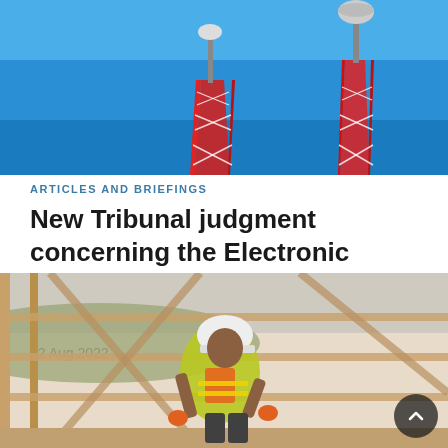[Figure (photo): Telecommunications towers with red and white lattice structure against a blue sky]
ARTICLES AND BRIEFINGS
New Tribunal judgment concerning the Electronic Communications Code and concurrent leases
22 Aug 2022
[Figure (photo): Construction worker in yellow high-visibility vest and white hard hat working on a wooden frame structure at a building site]